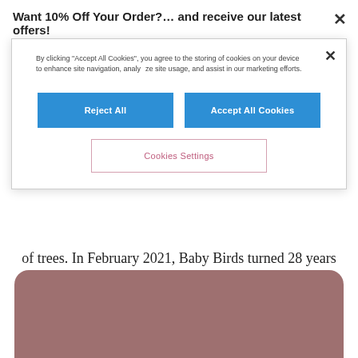Want 10% Off Your Order?… and receive our latest offers!
By clicking "Accept All Cookies", you agree to the storing of cookies on your device to enhance site navigation, analyse site usage, and assist in our marketing efforts.
Reject All
Accept All Cookies
Cookies Settings
of trees. In February 2021, Baby Birds turned 28 years old. Like many of you, we had a thought-provoking year, watching the world change before us during the pandemic. Our youngest Baby Bird turned 1 - and we want to build a better future for her and all babies on the planet.
[Figure (illustration): Mauve/rose colored rounded rectangle image area at bottom of page]